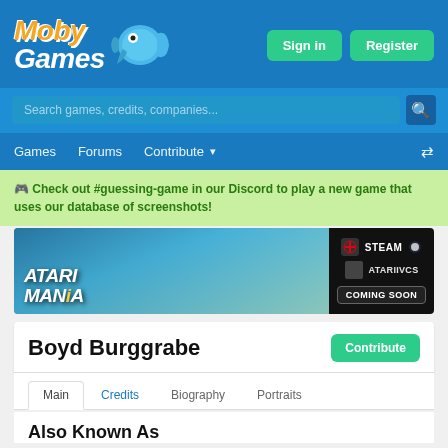[Figure (logo): MobyGames logo with orange and white text and blue fish mascot]
Sign in
Register
Search games, credits, companies...
Games   Forums   Contribute   (shuffle icon)
🎮 Check out #guessing-game in our Discord to play a new game that uses our database of screenshots!
[Figure (screenshot): Atari Mania advertisement banner with game characters and platforms Nintendo Switch, Steam, Atariivcs, Coming Soon]
Boyd Burggrabe
Contribute
Main   Credits   Biography   Portraits
Also Known As